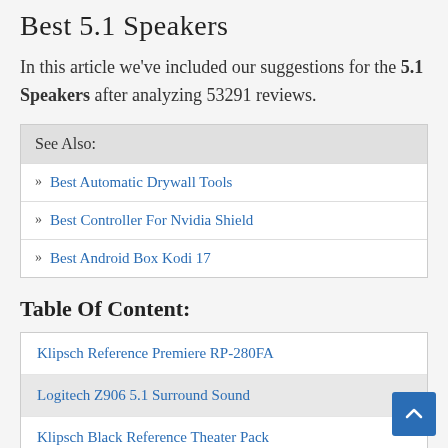Best 5.1 Speakers
In this article we've included our suggestions for the 5.1 Speakers after analyzing 53291 reviews.
| See Also: |
| --- |
| Best Automatic Drywall Tools |
| Best Controller For Nvidia Shield |
| Best Android Box Kodi 17 |
Table Of Content:
Klipsch Reference Premiere RP-280FA
Logitech Z906 5.1 Surround Sound
Klipsch Black Reference Theater Pack
Acoustic Audio AA5172 700W